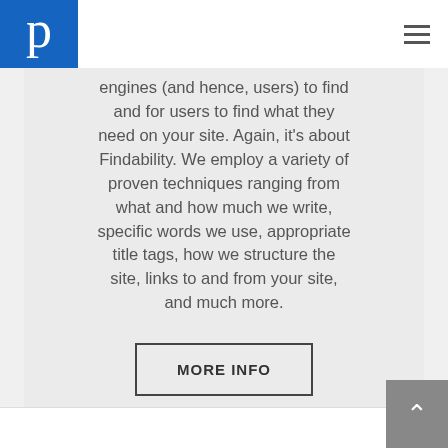[Figure (logo): Blue square logo with white lowercase letter p]
engines (and hence, users) to find and for users to find what they need on your site. Again, it's about Findability. We employ a variety of proven techniques ranging from what and how much we write, specific words we use, appropriate title tags, how we structure the site, links to and from your site, and much more.
MORE INFO